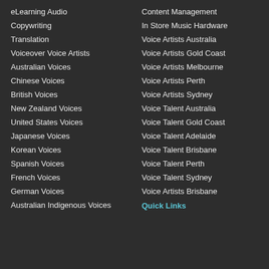eLearning Audio
Copywriting
Translation
Voiceover Voice Artists
Australian Voices
Chinese Voices
British Voices
New Zealand Voices
United States Voices
Japanese Voices
Korean Voices
Spanish Voices
French Voices
German Voices
Australian Indigenous Voices
Content Management
In Store Music Hardware
Voice Artists Australia
Voice Artists Gold Coast
Voice Artists Melbourne
Voice Artists Perth
Voice Artists Sydney
Voice Talent Australia
Voice Talent Gold Coast
Voice Talent Adelaide
Voice Talent Brisbane
Voice Talent Perth
Voice Talent Sydney
Voice Artists Brisbane
Quick Links